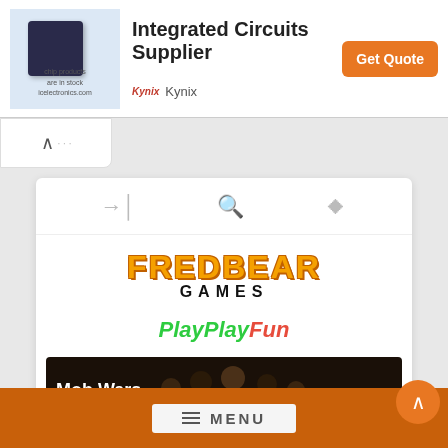[Figure (screenshot): Kynix Integrated Circuits Supplier advertisement banner with chip image, 'Get Quote' orange button, and Kynix brand logo]
[Figure (logo): FREDBEAR GAMES logo - orange/gold bold text with GAMES in black below]
[Figure (logo): PlayPlayFun logo - Play in green italic, Fun in red italic]
[Figure (screenshot): Mob Wars La Cosa Mostra banner - dark background with silhouettes, 'PLAY FOR FREE' text on right]
MENU